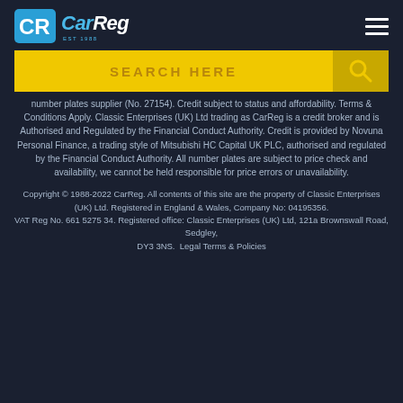CarReg
SEARCH HERE
number plates supplier (No. 27154). Credit subject to status and affordability. Terms & Conditions Apply. Classic Enterprises (UK) Ltd trading as CarReg is a credit broker and is Authorised and Regulated by the Financial Conduct Authority. Credit is provided by Novuna Personal Finance, a trading style of Mitsubishi HC Capital UK PLC, authorised and regulated by the Financial Conduct Authority. All number plates are subject to price check and availability, we cannot be held responsible for price errors or unavailability.
Copyright © 1988-2022 CarReg. All contents of this site are the property of Classic Enterprises (UK) Ltd. Registered in England & Wales, Company No: 04195356. VAT Reg No. 661 5275 34. Registered office: Classic Enterprises (UK) Ltd, 121a Brownswall Road, Sedgley, DY3 3NS. Legal Terms & Policies